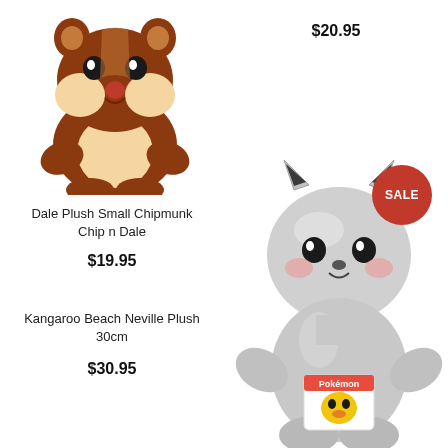[Figure (photo): Dale plush small chipmunk toy from Chip n Dale, brown and cream colored stuffed animal sitting upright]
Dale Plush Small Chipmunk Chip n Dale
$19.95
$20.95
Kangaroo Beach Neville Plush 30cm
$30.95
[Figure (photo): Silver metallic Pikachu Pokemon plush toy holding a Pokemon branded bag, with a red SALE badge in the corner]